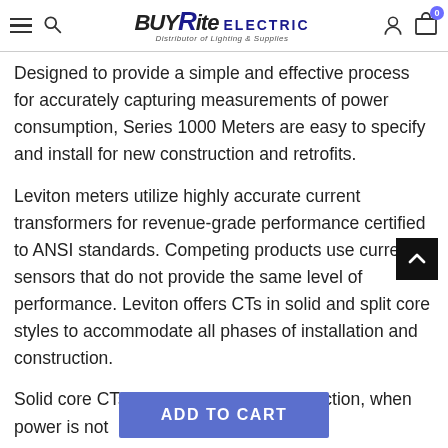BUYRite ELECTRIC — Distributor of Lighting & Supplies
Designed to provide a simple and effective process for accurately capturing measurements of power consumption, Series 1000 Meters are easy to specify and install for new construction and retrofits.
Leviton meters utilize highly accurate current transformers for revenue-grade performance certified to ANSI standards. Competing products use current sensors that do not provide the same level of performance. Leviton offers CTs in solid and split core styles to accommodate all phases of installation and construction.
Solid core CTs are ideal for new construction, when power is not
[Figure (other): Scroll to top button — black square with white upward chevron arrow]
ADD TO CART